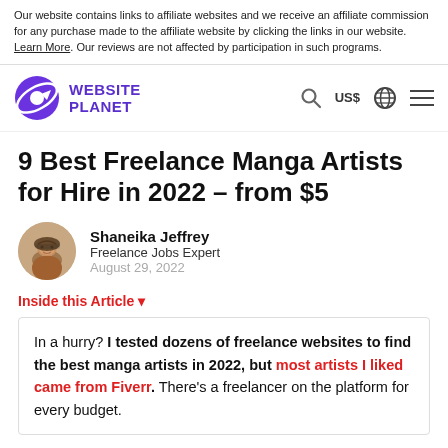Our website contains links to affiliate websites and we receive an affiliate commission for any purchase made to the affiliate website by clicking the links in our website. Learn More. Our reviews are not affected by participation in such programs.
Website Planet — Navigation bar with logo, search, US$, globe, menu
9 Best Freelance Manga Artists for Hire in 2022 – from $5
Shaneika Jeffrey
Freelance Jobs Expert
August 29, 2022
Inside this Article ▼
In a hurry? I tested dozens of freelance websites to find the best manga artists in 2022, but most artists I liked came from Fiverr. There's a freelancer on the platform for every budget.